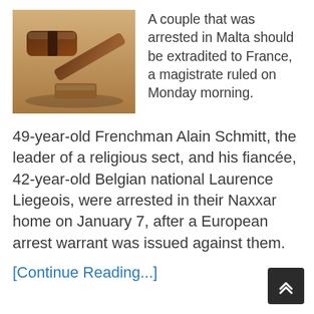[Figure (photo): A wooden gavel on a wooden surface, law/court themed image]
A couple that was arrested in Malta should be extradited to France, a magistrate ruled on Monday morning.
49-year-old Frenchman Alain Schmitt, the leader of a religious sect, and his fiancée, 42-year-old Belgian national Laurence Liegeois, were arrested in their Naxxar home on January 7, after a European arrest warrant was issued against them.
[Continue Reading...]